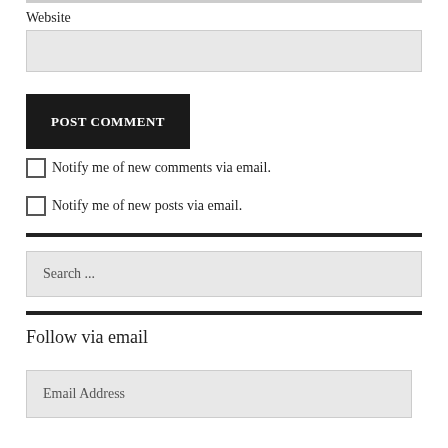Website
[Figure (screenshot): Website text input field (empty, light gray background)]
[Figure (screenshot): POST COMMENT button, black background with white uppercase text]
Notify me of new comments via email.
Notify me of new posts via email.
[Figure (screenshot): Search input field with placeholder text 'Search ...']
Follow via email
[Figure (screenshot): Email Address input field, light gray background with placeholder text 'Email Address']